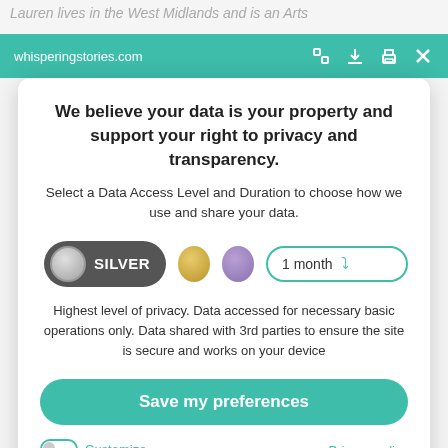Lauren lives in the West Midlands and is an Arts
[Figure (screenshot): Browser toolbar with teal/green background showing URL whisperingstories.com and icons for expand, download, print, and close (X)]
We believe your data is your property and support your right to privacy and transparency.
Select a Data Access Level and Duration to choose how we use and share your data.
[Figure (infographic): Data access level selector showing: SILVER pill button (dark grey with silver circle), gold circle, purple circle, and a '1 month' dropdown with teal border and chevron arrow]
Highest level of privacy. Data accessed for necessary basic operations only. Data shared with 3rd parties to ensure the site is secure and works on your device
Save my preferences
Customize
Privacy policy